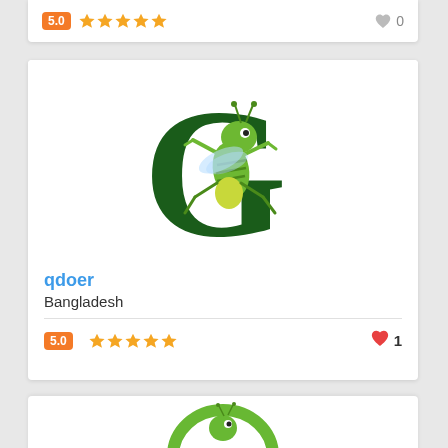[Figure (other): Partial top card showing rating badge 5.0, five orange stars, and a gray heart with 0]
[Figure (logo): Grasshopper mascot logo inside a large dark green letter G]
qdoer
Bangladesh
[Figure (other): Rating row: orange badge 5.0, five orange stars, red heart icon with count 1]
[Figure (logo): Partial bottom card showing another green circular logo with grasshopper mascot]